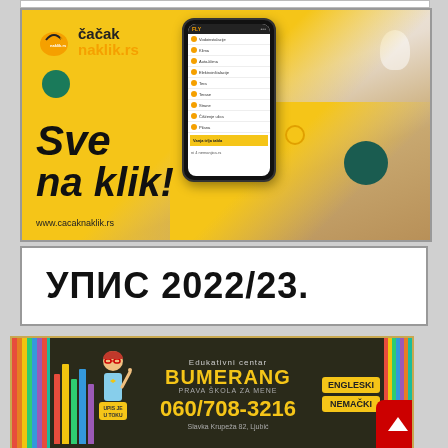[Figure (photo): Advertisement for cacaknaklik.rs - shows a phone with app, text 'Sve na klik!' and website www.cacaknaklik.rs]
УПИС 2022/23.
[Figure (photo): Advertisement for Edukativni centar Bumerang - PRAVA ŠKOLA ZA MENE - ENGLESKI, NEMAČKI - UPIS JE U TOKU - 060/708-3216 - Slavka Krupeža 82, Ljubić]